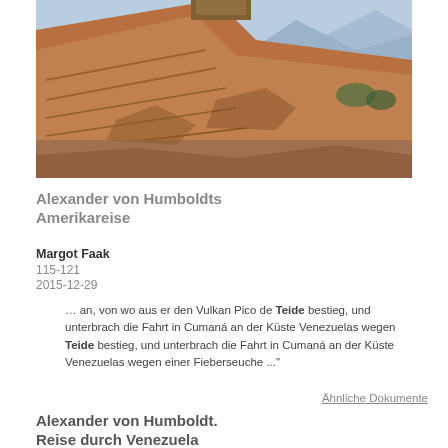[Figure (photo): Photograph of rocky, terraced cliffs or an archaeological site with mountains and water visible in the background. Warm brown and orange tones.]
Alexander von Humboldts Amerikareise
Margot Faak
115-121
2015-12-29
… an, von wo aus er den Vulkan Pico de Teide bestieg, und unterbrach die Fahrt in Cumaná an der Küste Venezuelas wegen Teide bestieg, und unterbrach die Fahrt in Cumaná an der Küste Venezuelas wegen einer Fieberseuche ..."
Ähnliche Dokumente
Alexander von Humboldt. Reise durch Venezuela
Margot Faak